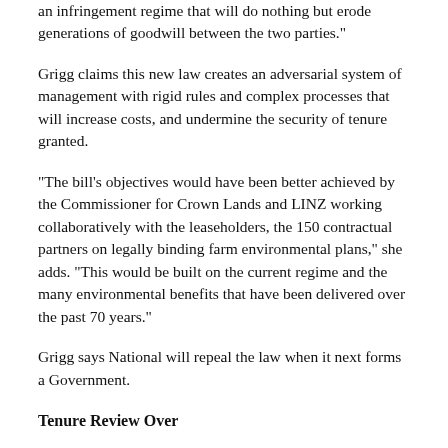an infringement regime that will do nothing but erode generations of goodwill between the two parties."
Grigg claims this new law creates an adversarial system of management with rigid rules and complex processes that will increase costs, and undermine the security of tenure granted.
"The bill's objectives would have been better achieved by the Commissioner for Crown Lands and LINZ working collaboratively with the leaseholders, the 150 contractual partners on legally binding farm environmental plans," she adds. "This would be built on the current regime and the many environmental benefits that have been delivered over the past 70 years."
Grigg says National will repeal the law when it next forms a Government.
Tenure Review Over
The new legislation also ends the tenure review process.
Tenure review was a voluntary process that gave pastoral lessees an opportunity to buy land capable of economic use from the Crown, while land with high conservation values was protected and restored to full Crown ownership as conservation land.